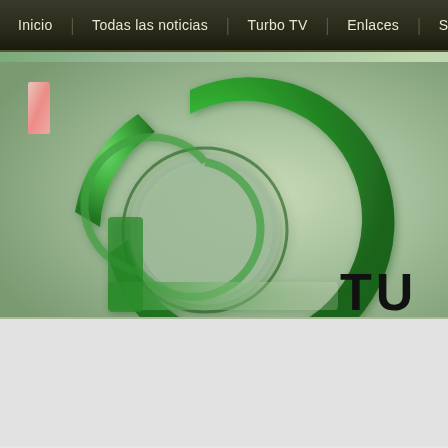Inicio | Todas las noticias | Turbo TV | Enlaces | S
[Figure (logo): Green circular 'Q' or '@' shaped logo with 3D metallic green gradient effect on a sage green background, with black 'TU' text letters in the lower right area. Small pink/red rectangular accent in upper left.]